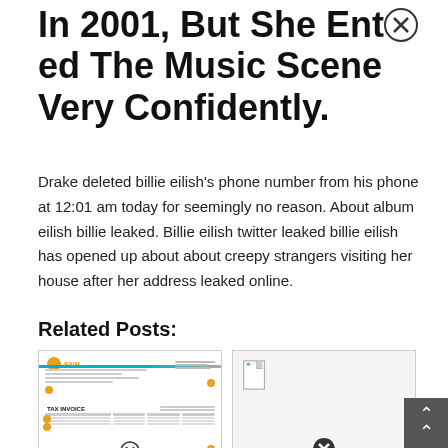In 2001, But She Entered The Music Scene Very Confidently.
Drake deleted billie eilish's phone number from his phone at 12:01 am today for seemingly no reason. About album eilish billie leaked. Billie eilish twitter leaked billie eilish has opened up about about creepy strangers visiting her house after her address leaked online.
Related Posts:
[Figure (photo): Thumbnail of an FNB Tax Invoice document with orange dots and teal header line]
[Figure (photo): Thumbnail of a blank/white document with page icon and close button overlay]